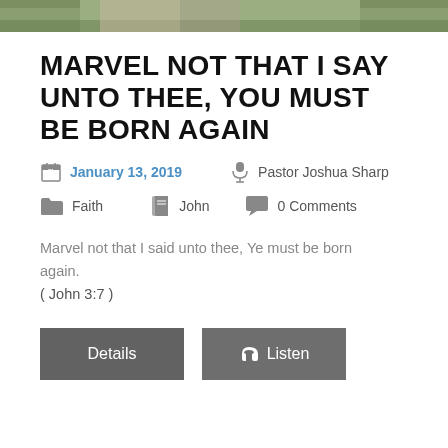[Figure (photo): Green lawn and building exterior photo strip at top of page]
MARVEL NOT THAT I SAY UNTO THEE, YOU MUST BE BORN AGAIN
January 13, 2019   Pastor Joshua Sharp   Faith   John   0 Comments
Marvel not that I said unto thee, Ye must be born again.
( John 3:7 )
Details   Listen